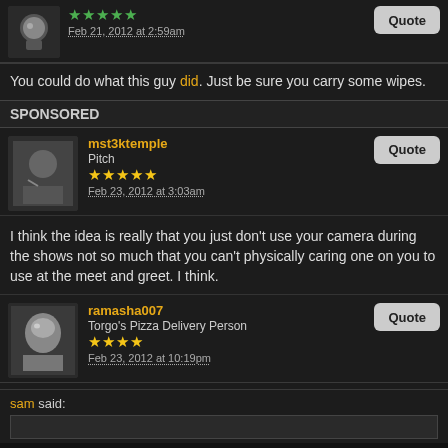[Figure (photo): User avatar - astronaut helmet icon]
★★★★★ (green stars)
Feb 21, 2012 at 2:59am
Quote button
You could do what this guy did. Just be sure you carry some wipes.
SPONSORED
mst3ktemple
Pitch
★★★★★ (gold stars)
Feb 23, 2012 at 3:03am
I think the idea is really that you just don't use your camera during the shows not so much that you can't physically caring one on you to use at the meet and greet. I think.
ramasha007
Torgo's Pizza Delivery Person
★★★★ (gold stars)
Feb 23, 2012 at 10:19pm
sam said: